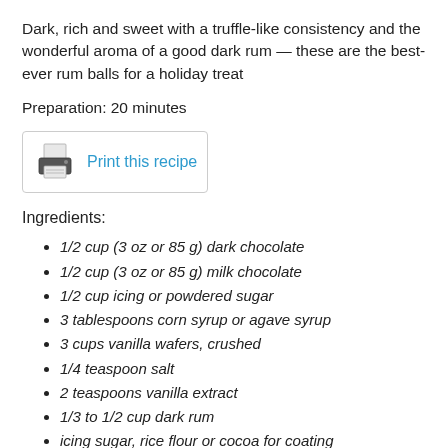Dark, rich and sweet with a truffle-like consistency and the wonderful aroma of a good dark rum — these are the best-ever rum balls for a holiday treat
Preparation: 20 minutes
[Figure (other): Printer icon with 'Print this recipe' link]
Ingredients:
1/2 cup (3 oz or 85 g) dark chocolate
1/2 cup (3 oz or 85 g) milk chocolate
1/2 cup icing or powdered sugar
3 tablespoons corn syrup or agave syrup
3 cups vanilla wafers, crushed
1/4 teaspoon salt
2 teaspoons vanilla extract
1/3 to 1/2 cup dark rum
icing sugar, rice flour or cocoa for coating